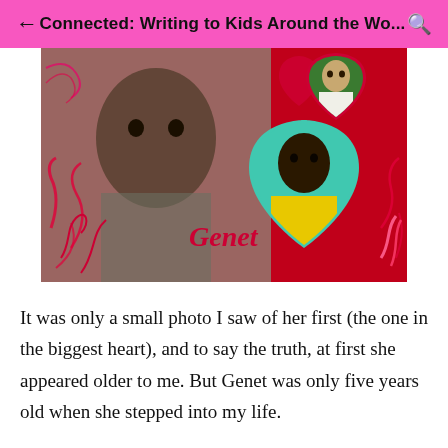Connected: Writing to Kids Around the Wo...
[Figure (photo): A decorative red heart-themed collage showing a child named Genet. The main image shows an older-looking African child in the background. Overlaid are two heart shapes: a smaller red heart in the top right with a photo of a lighter-skinned child, and a large teal/turquoise heart in the center-right with a photo of a young African girl in a yellow top. The name 'Genet' is written in cursive red script across the center.]
It was only a small photo I saw of her first (the one in the biggest heart), and to say the truth, at first she appeared older to me. But Genet was only five years old when she stepped into my life.